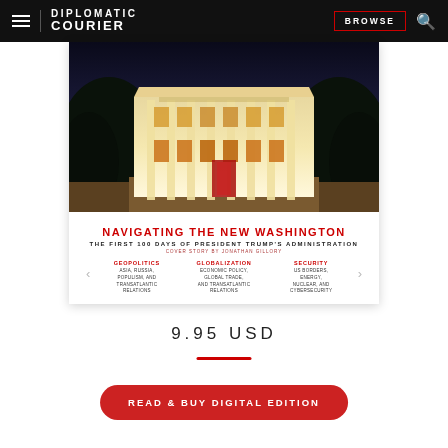Diplomatic Courier | BROWSE
[Figure (photo): Magazine cover for Diplomatic Courier showing a White House photo at night with the publication title 'Navigating the New Washington: The First 100 Days of President Trump's Administration']
9.95 USD
READ & BUY DIGITAL EDITION